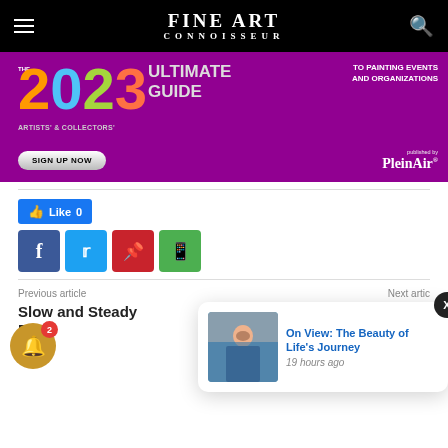FINE ART CONNOISSEUR
[Figure (infographic): Purple banner advertisement: 'THE 2023 ULTIMATE GUIDE ARTISTS' & COLLECTORS' TO PAINTING EVENTS AND ORGANIZATIONS SIGN UP NOW published by PleinAir']
[Figure (infographic): Facebook Like button showing 0 likes, followed by social sharing icons for Facebook, Twitter, Pinterest, and WhatsApp]
Previous article
Next article
Slow and Steady Races
[Figure (photo): Thumbnail image of a woman with abstract colorful painting, part of notification popup for 'On View: The Beauty of Life's Journey']
On View: The Beauty of Life's Journey
19 hours ago